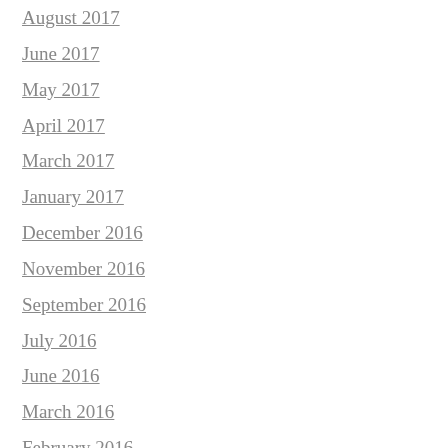August 2017
June 2017
May 2017
April 2017
March 2017
January 2017
December 2016
November 2016
September 2016
July 2016
June 2016
March 2016
February 2016
January 2016
December 2015
October 2015
September 2015